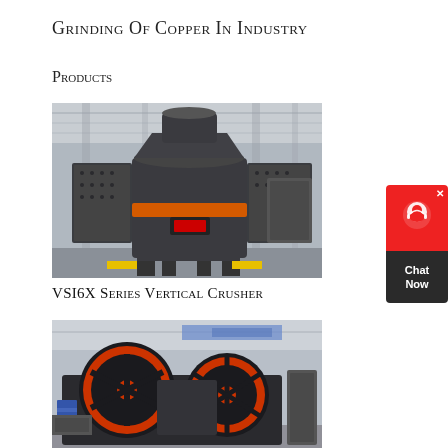Grinding Of Copper In Industry
Products
[Figure (photo): VSI6X Series Vertical Crusher machine in an industrial factory setting, large dark grey/black vertical shaft impact crusher with orange accent ring]
VSI6X Series Vertical Crusher
[Figure (photo): Industrial jaw crusher or similar machinery with large red/orange flywheels visible in a factory setting]
[Figure (other): Chat Now customer support widget with red header and dark body]